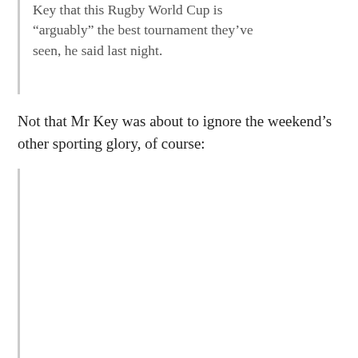“arguably” the best tournament they’ve seen, he said last night.
Not that Mr Key was about to ignore the weekend’s other sporting glory, of course:
[Figure (other): Empty blockquote section with left border line, containing no visible image content (image missing or not loaded)]
Mr Key will be in Australia for the next All Blacks clash as he supports the Warriors in their NRL finals match with Manly.